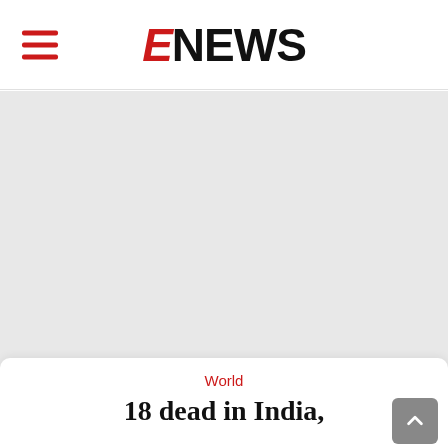ENEWS
[Figure (photo): Large gray placeholder image area for a news article photo]
World
18 dead in India,